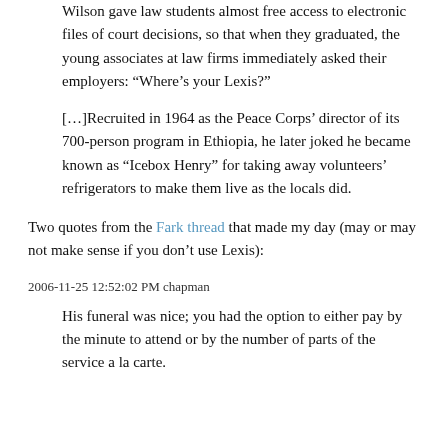Wilson gave law students almost free access to electronic files of court decisions, so that when they graduated, the young associates at law firms immediately asked their employers: “Where’s your Lexis?”
[...]Recruited in 1964 as the Peace Corps’ director of its 700-person program in Ethiopia, he later joked he became known as “Icebox Henry” for taking away volunteers’ refrigerators to make them live as the locals did.
Two quotes from the Fark thread that made my day (may or may not make sense if you don’t use Lexis):
2006-11-25 12:52:02 PM chapman
His funeral was nice; you had the option to either pay by the minute to attend or by the number of parts of the service a la carte.